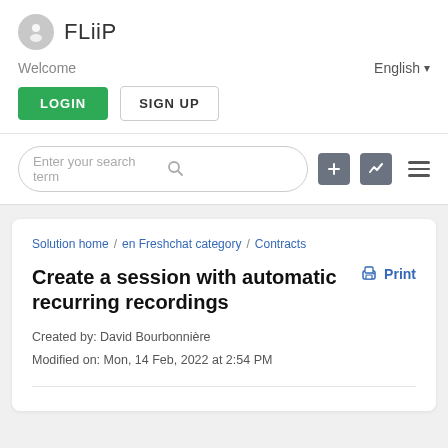[Figure (logo): FLiiP app logo: circular grey icon with white figure, next to the text FLiiP]
Welcome
English
LOGIN
SIGN UP
Enter your search term
Solution home / en Freshchat category / Contracts
Create a session with automatic recurring recordings
Print
Created by: David Bourbonnière
Modified on: Mon, 14 Feb, 2022 at 2:54 PM